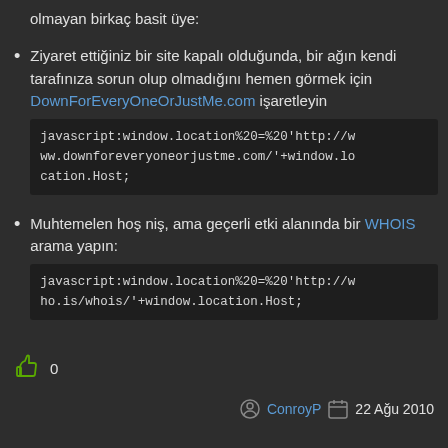olmayan birkaç basit üye:
Ziyaret ettiğiniz bir site kapalı olduğunda, bir ağın kendi tarafınıza sorun olup olmadığını hemen görmek için DownForEveryOneOrJustMe.com işaretleyin javascript:window.location%20=%20'http://www.downforeveryoneorjustme.com/'+window.location.Host;
Muhtemelen hoş niş, ama geçerli etki alanında bir WHOIS arama yapın: javascript:window.location%20=%20'http://who.is/whois/'+window.location.Host;
0
ConroyP  22 Ağu 2010